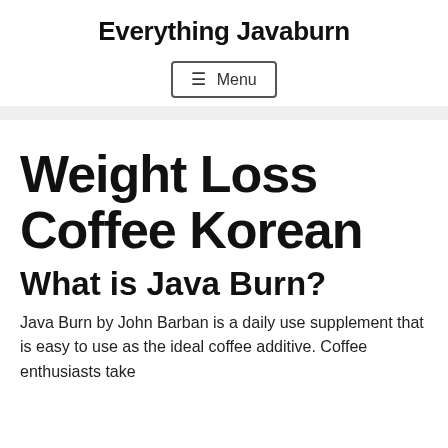Everything Javaburn
≡ Menu
Weight Loss Coffee Korean
What is Java Burn?
Java Burn by John Barban is a daily use supplement that is easy to use as the ideal coffee additive. Coffee enthusiasts take